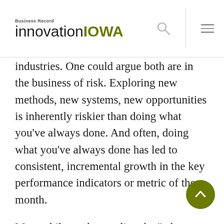Business Record innovationIOWA
industries. One could argue both are in the business of risk. Exploring new methods, new systems, new opportunities is inherently riskier than doing what you’ve always done. And often, doing what you’ve always done has led to consistent, incremental growth in the key performance indicators or metric of the month.
Meanwhile, understanding the “who, what, when, where and why” of consumers and consumer behavior has fundamentally changed in the last dozen years with the introduction of more new